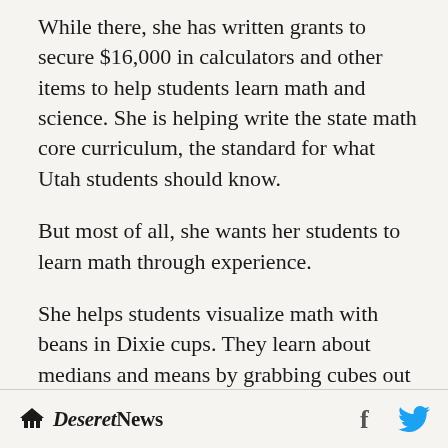While there, she has written grants to secure $16,000 in calculators and other items to help students learn math and science. She is helping write the state math core curriculum, the standard for what Utah students should know.
But most of all, she wants her students to learn math through experience.
She helps students visualize math with beans in Dixie cups. They learn about medians and means by grabbing cubes out of a bag, then lining up different sizes in order and calculating where the middle is.
Deseret News